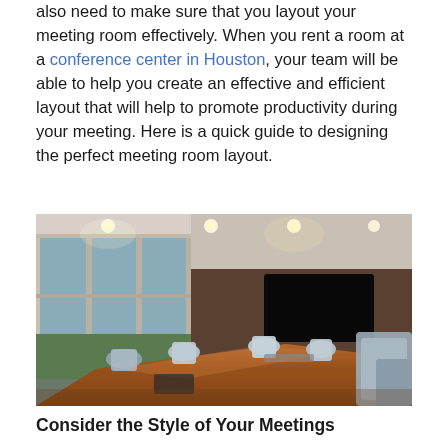also need to make sure that you layout your meeting room effectively. When you rent a room at a conference center in Houston, your team will be able to help you create an effective and efficient layout that will help to promote productivity during your meeting. Here is a quick guide to designing the perfect meeting room layout.
[Figure (photo): Interior photo of a modern conference room with floor-to-ceiling windows on the left, a large polished wooden conference table in the foreground with white ergonomic chairs, recessed ceiling lights, and a wall-mounted flat screen TV on a dark wood-paneled wall in the background.]
Consider the Style of Your Meetings